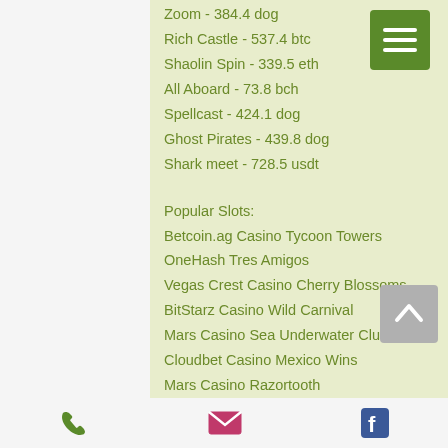Zoom - 384.4 dog
Rich Castle - 537.4 btc
Shaolin Spin - 339.5 eth
All Aboard - 73.8 bch
Spellcast - 424.1 dog
Ghost Pirates - 439.8 dog
Shark meet - 728.5 usdt
Popular Slots:
Betcoin.ag Casino Tycoon Towers
OneHash Tres Amigos
Vegas Crest Casino Cherry Blossoms
BitStarz Casino Wild Carnival
Mars Casino Sea Underwater Club
Cloudbet Casino Mexico Wins
Mars Casino Razortooth
Bitcoin Penguin Casino Ninja Magic
Mars Casino Money Magic
CryptoWild Casino Lucky Drink
Phone | Email | Facebook